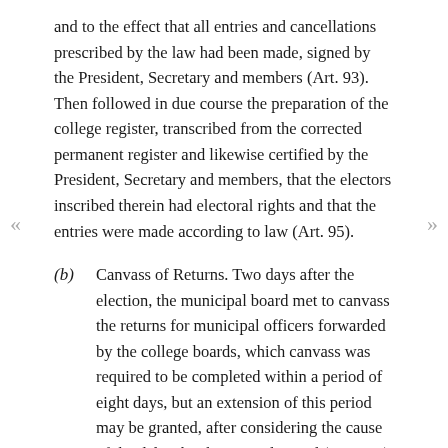and to the effect that all entries and cancellations prescribed by the law had been made, signed by the President, Secretary and members (Art. 93). Then followed in due course the preparation of the college register, transcribed from the corrected permanent register and likewise certified by the President, Secretary and members, that the electors inscribed therein had electoral rights and that the entries were made according to law (Art. 95).
(b) Canvass of Returns. Two days after the election, the municipal board met to canvass the returns for municipal officers forwarded by the college boards, which canvass was required to be completed within a period of eight days, but an extension of this period may be granted, after considering the cause of the delay, by the Central Board (Art. 186). There could be present at the canvass by the municipal board, which was required to be held at its usual place of meeting, the official candidates and also delegates of the political parties (Art. 187). The seals of packages transmitted by the college boards could be broken by the municipal board only after their condition had been noted in the minutes of the